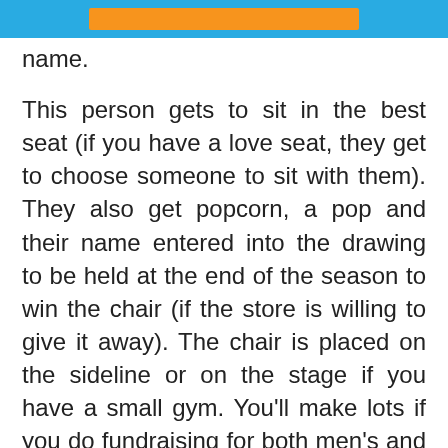[orange bar / decorative header]
name.
This person gets to sit in the best seat (if you have a love seat, they get to choose someone to sit with them). They also get popcorn, a pop and their name entered into the drawing to be held at the end of the season to win the chair (if the store is willing to give it away). The chair is placed on the sideline or on the stage if you have a small gym. You'll make lots if you do fundraising for both men's and women's basketball games. Source: Ms. Pineapple's Cheer